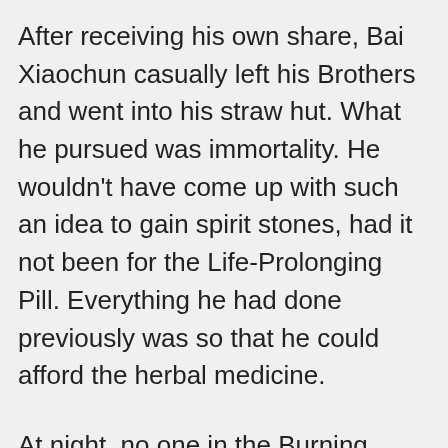After receiving his own share, Bai Xiaochun casually left his Brothers and went into his straw hut. What he pursued was immortality. He wouldn't have come up with such an idea to gain spirit stones, had it not been for the Life-Prolonging Pill. Everything he had done previously was so that he could afford the herbal medicine.
At night, no one in the Burning Stoves Kitchen slept soundly. Since all of them, especially Zhang Fatso One, had suddenly become so wealthy, they were extremely excited. Recalling their bygone days of poverty, everyone was emotional and couldn't sleep in anticipation of the bright and beautiful future.